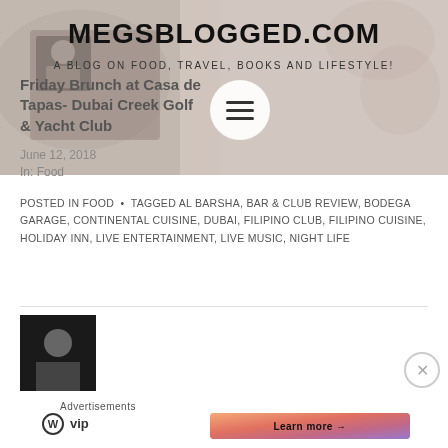[Figure (screenshot): Blog header screenshot with hero background image showing muted warm tones, blog name MEGSBLOGGED.COM, subtitle, hamburger menu button, post title overlaid, and date/category metadata]
MEGSBLOGGED.COM
A BLOG ON FOOD, TRAVEL, BOOKS AND LIFESTYLE!
Friday Brunch at Casa de Tapas- Dubai Creek Golf & Yacht Club
June 12, 2018
In: Food
POSTED IN FOOD • TAGGED AL BARSHA, BAR & CLUB REVIEW, BODEGA GARAGE, CONTINENTAL CUISINE, DUBAI, FILIPINO CLUB, FILIPINO CUISINE, HOLIDAY INN, LIVE ENTERTAINMENT, LIVE MUSIC, NIGHT LIFE
[Figure (photo): Black and white author thumbnail photo]
Advertisements
[Figure (logo): WordPress VIP logo]
[Figure (other): Learn more advertisement banner button with gradient background]